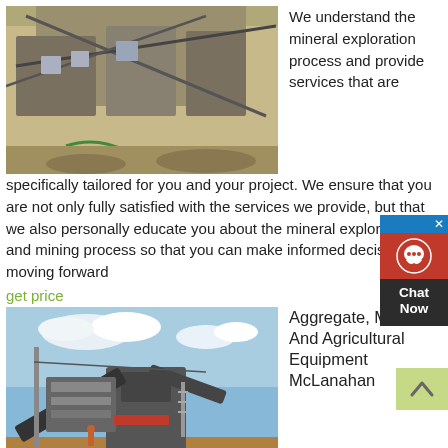[Figure (photo): Aerial view of a construction or mining facility with concrete structures and conveyor systems]
We understand the mineral exploration process and provide services that are specifically tailored for you and your project. We ensure that you are not only fully satisfied with the services we provide, but that we also personally educate you about the mineral exploration and mining process so that you can make informed decisions moving forward
get price
[Figure (photo): Mobile aggregate crushing and screening equipment on a job site with blue sky]
Aggregate, Mineral And Agricultural Equipment McLanahan
Solutions. McLanahan can help you solve a variety of problems across multiple industries. From crushing and